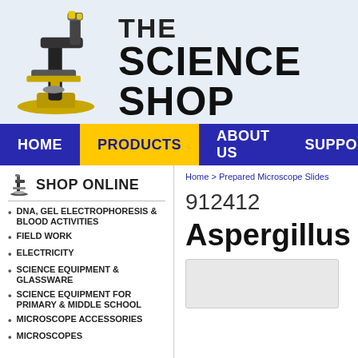[Figure (logo): The Science Shop logo with microscope illustration and text 'THE SCIENCE SHOP']
HOME | PRODUCTS | ABOUT US | SUPPORT
SHOP ONLINE
DNA, GEL ELECTROPHORESIS & BLOOD ACTIVITIES
FIELD WORK
ELECTRICITY
SCIENCE EQUIPMENT & GLASSWARE
SCIENCE EQUIPMENT FOR PRIMARY & MIDDLE SCHOOL
MICROSCOPE ACCESSORIES
MICROSCOPES
Home > Prepared Microscope Slides
912412
Aspergillus (w